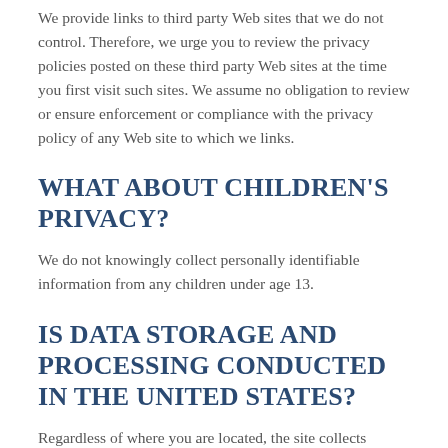We provide links to third party Web sites that we do not control. Therefore, we urge you to review the privacy policies posted on these third party Web sites at the time you first visit such sites. We assume no obligation to review or ensure enforcement or compliance with the privacy policy of any Web site to which we links.
WHAT ABOUT CHILDREN'S PRIVACY?
We do not knowingly collect personally identifiable information from any children under age 13.
IS DATA STORAGE AND PROCESSING CONDUCTED IN THE UNITED STATES?
Regardless of where you are located, the site collects